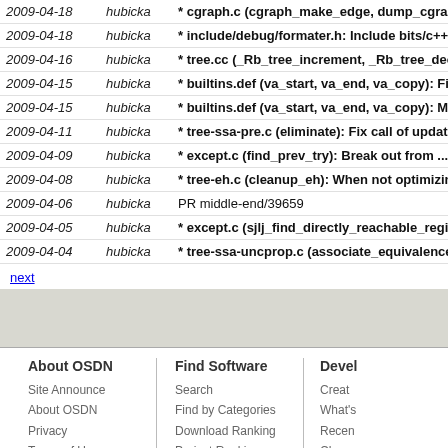| Date | Author | Message |
| --- | --- | --- |
| 2009-04-18 | hubicka | * cgraph.c (cgraph_make_edge, dump_cgraph_… |
| 2009-04-18 | hubicka | * include/debug/formater.h: Include bits/c++conf… |
| 2009-04-16 | hubicka | * tree.cc (_Rb_tree_increment, _Rb_tree_decrem… |
| 2009-04-15 | hubicka | * builtins.def (va_start, va_end, va_copy): Fix my… |
| 2009-04-15 | hubicka | * builtins.def (va_start, va_end, va_copy): Mark n… |
| 2009-04-11 | hubicka | * tree-ssa-pre.c (eliminate): Fix call of update_st… |
| 2009-04-09 | hubicka | * except.c (find_prev_try): Break out from .... |
| 2009-04-08 | hubicka | * tree-eh.c (cleanup_eh): When not optimizing, d… |
| 2009-04-06 | hubicka | PR middle-end/39659 |
| 2009-04-05 | hubicka | * except.c (sjlj_find_directly_reachable_regions)… |
| 2009-04-04 | hubicka | * tree-ssa-uncprop.c (associate_equivalences_w… |
next
About OSDN | Find Software | Devel
Site Announce | Search | Creat
About OSDN | Find by Categories | What's
Privacy | Download Ranking | Recen
Terms of Use | Project Ranking | Cham
Advertise | | API
Copyright ©OS